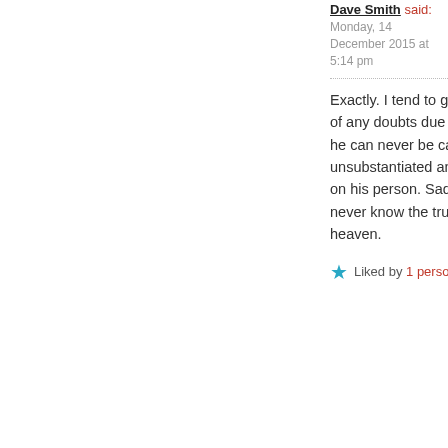Dave Smith said: Monday, 14 December 2015 at 5:14 pm
Exactly. I tend to give the man the benefit of any doubts due to his work. However, he can never be canonized due to the unsubstantiated and unverifiable attacks on his person. Sadly, I guess we will never know the truth of Origen this side of heaven.
★ Liked by 1 person